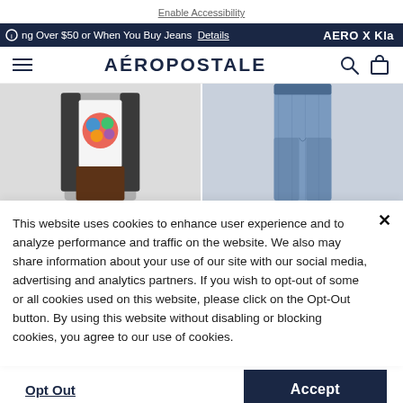Enable Accessibility
ng Over $50 or When You Buy Jeans Details  AERO X Kla
AÉROPOSTALE
[Figure (photo): Two product photos side by side: left shows a person wearing a graphic t-shirt and dark cardigan; right shows a person wearing blue jeans]
This website uses cookies to enhance user experience and to analyze performance and traffic on the website. We also may share information about your use of our site with our social media, advertising and analytics partners. If you wish to opt-out of some or all cookies used on this website, please click on the Opt-Out button. By using this website without disabling or blocking cookies, you agree to our use of cookies.
Opt Out
Accept